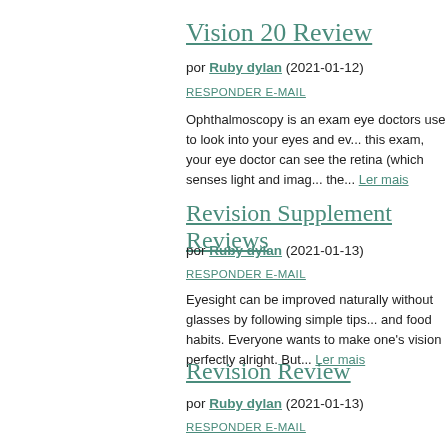Vision 20 Review
por Ruby dylan (2021-01-12)
RESPONDER E-MAIL
Ophthalmoscopy is an exam eye doctors use to look into your eyes and ev... this exam, your eye doctor can see the retina (which senses light and imag... the... Ler mais
Revision Supplement Reviews
por Ruby dylan (2021-01-13)
RESPONDER E-MAIL
Eyesight can be improved naturally without glasses by following simple tips... and food habits. Everyone wants to make one's vision perfectly alright. But... Ler mais
Revision Review
por Ruby dylan (2021-01-13)
RESPONDER E-MAIL
Correcting eyesight naturally has to do with using eye massage, relaxation... exercises regularly. The entire exercise is not unlike physical therapy for th... Some... Ler mais